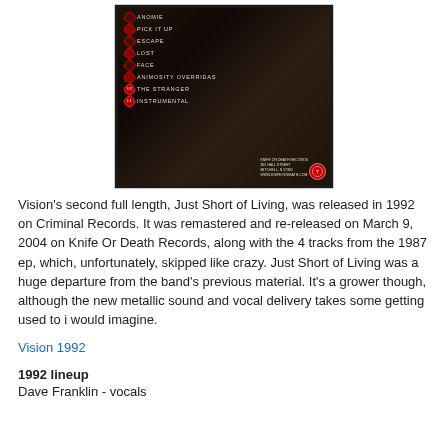[Figure (illustration): Album back cover image showing dark atmospheric artwork with track listing: Anomie, Pick It Up, Escape, Lost, Face, Animosity Overridas, The Stranger, Instrumental. Knife Or Death Records label info and logo in bottom right.]
Vision's second full length, Just Short of Living, was released in 1992 on Criminal Records. It was remastered and re-released on March 9, 2004 on Knife Or Death Records, along with the 4 tracks from the 1987 ep, which, unfortunately, skipped like crazy. Just Short of Living was a huge departure from the band's previous material. It's a grower though, although the new metallic sound and vocal delivery takes some getting used to i would imagine.
Vision 1992
1992 lineup
Dave Franklin - vocals